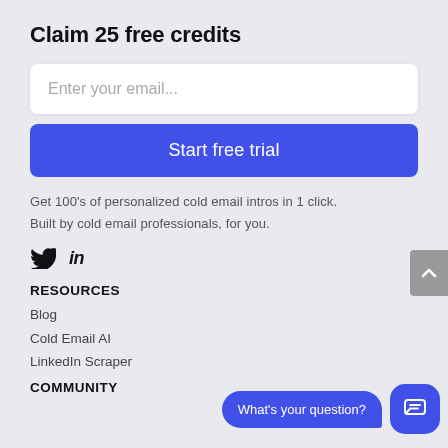Claim 25 free credits
Enter your email...
Start free trial
Get 100's of personalized cold email intros in 1 click. Built by cold email professionals, for you.
[Figure (illustration): Social media icons: Twitter (bird icon) and LinkedIn (in icon)]
RESOURCES
Blog
Cold Email AI
LinkedIn Scraper
COMMUNITY
[Figure (screenshot): Chat widget with 'What's your question?' speech bubble and blue chat icon button]